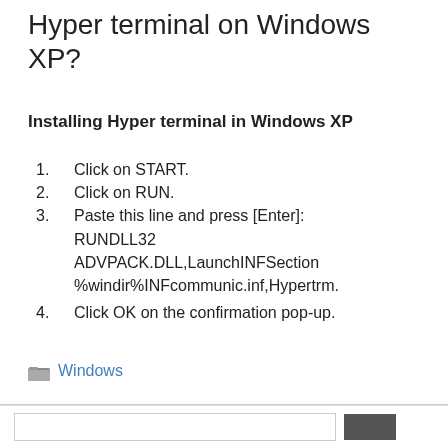Hyper terminal on Windows XP?
Installing Hyper terminal in Windows XP
Click on START.
Click on RUN.
Paste this line and press [Enter]: RUNDLL32 ADVPACK.DLL,LaunchINFSection %windir%INFcommunic.inf,Hypertrm.
Click OK on the confirmation pop-up.
Windows